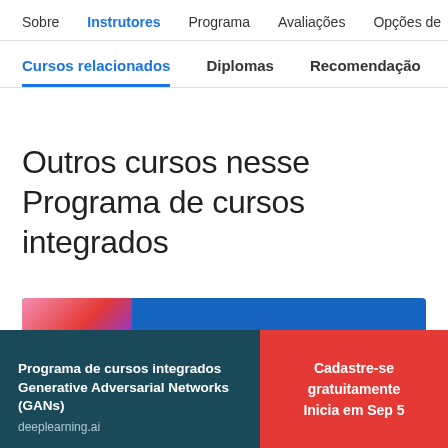Sobre  Instrutores  Programa  Avaliações  Opções de
Cursos relacionados  Diplomas  Recomendação
Outros cursos nesse Programa de cursos integrados
[Figure (screenshot): Card image with blue background and pink/purple gradient accent on the left]
Programa de cursos integrados Generative Adversarial Networks (GANs)
deeplearning.ai
Cadastre-se gratuitamente
Inicia em Sep 5